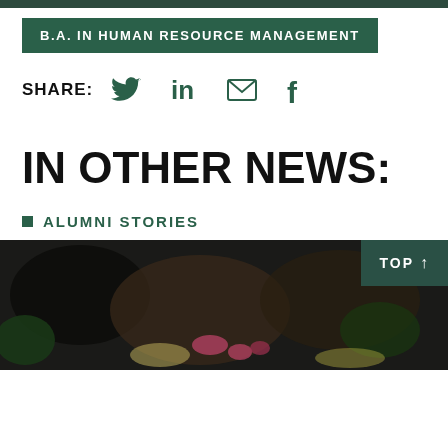B.A. IN HUMAN RESOURCE MANAGEMENT
SHARE:
[Figure (illustration): Social media share icons: Twitter bird, LinkedIn 'in', email envelope, Facebook 'f' — all in dark green]
IN OTHER NEWS:
ALUMNI STORIES
[Figure (photo): Dark blurred food/restaurant scene photograph with colorful flowers/vegetables visible; 'TOP ↑' button overlay in dark green at top right]